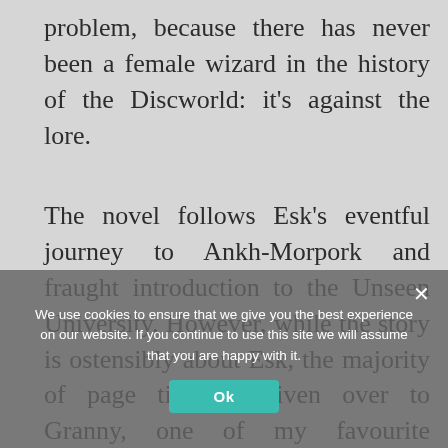problem, because there has never been a female wizard in the history of the Discworld: it's against the lore.
The novel follows Esk's eventful journey to Ankh-Morpork and fraught introduction to the Unseen University. However, while the story is ostensibly about Esk, the majority of page time is given over to Granny, one of my favourite characters of the Discworld series. It's full of comic moments, such as when Granny falls into a bear pit whilst trying to jump-start her broomstick; and in some ways Equal Rites is more about the journey of a very old woman learning lots of new things about a world she's never really visited. As Granny would say derisively, 'most people have never set foot outside their own head', and we come to
We use cookies to ensure that we give you the best experience on our website. If you continue to use this site we will assume that you are happy with it.
Ok